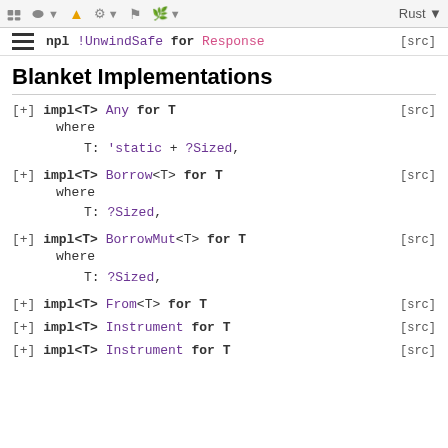impl !UnwindSafe for Response [src]
Blanket Implementations
[+] impl<T> Any for T where T: 'static + ?Sized, [src]
[+] impl<T> Borrow<T> for T where T: ?Sized, [src]
[+] impl<T> BorrowMut<T> for T where T: ?Sized, [src]
[+] impl<T> From<T> for T [src]
[+] impl<T> Instrument for T [src]
[+] impl<T> Instrument for T [src]